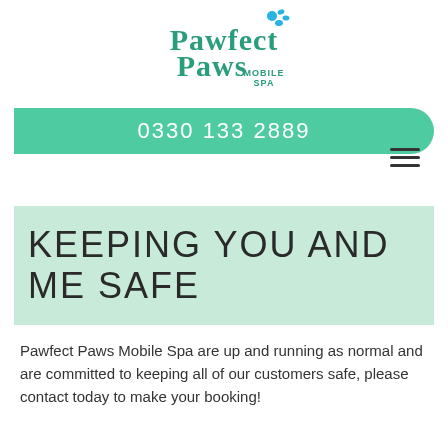[Figure (logo): Pawfect Paws Mobile Spa logo in teal/green colors with paw print details]
0330 133 2889
[Figure (other): Hamburger menu icon (three horizontal lines)]
KEEPING YOU AND ME SAFE
Pawfect Paws Mobile Spa are up and running as normal and are committed to keeping all of our customers safe, please contact today to make your booking!